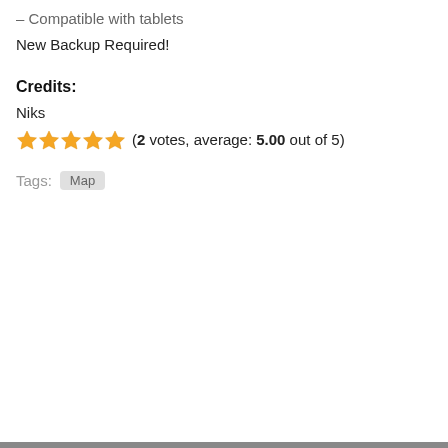– Compatible with tablets
New Backup Required!
Credits:
Niks
(2 votes, average: 5.00 out of 5)
Tags: Map